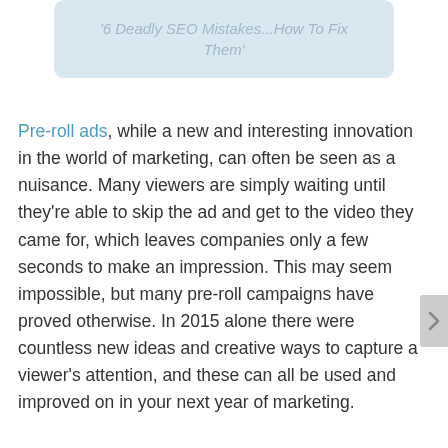[Figure (screenshot): Light blue rounded rectangle banner containing italic text '6 Deadly SEO Mistakes...How To Fix Them']
Pre-roll ads, while a new and interesting innovation in the world of marketing, can often be seen as a nuisance. Many viewers are simply waiting until they're able to skip the ad and get to the video they came for, which leaves companies only a few seconds to make an impression. This may seem impossible, but many pre-roll campaigns have proved otherwise. In 2015 alone there were countless new ideas and creative ways to capture a viewer's attention, and these can all be used and improved on in your next year of marketing.